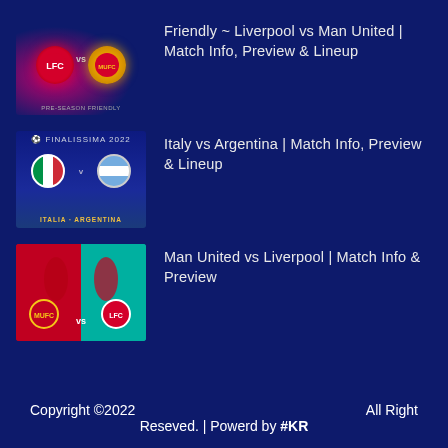[Figure (illustration): Thumbnail image for Liverpool vs Man United friendly match]
Friendly ~ Liverpool vs Man United | Match Info, Preview & Lineup
[Figure (illustration): Thumbnail image for Italy vs Argentina match with flags]
Italy vs Argentina | Match Info, Preview & Lineup
[Figure (illustration): Thumbnail image for Man United vs Liverpool match with player photos]
Man United vs Liverpool | Match Info & Preview
Copyright ©2022    All Right Reseved. | Powerd by #KR